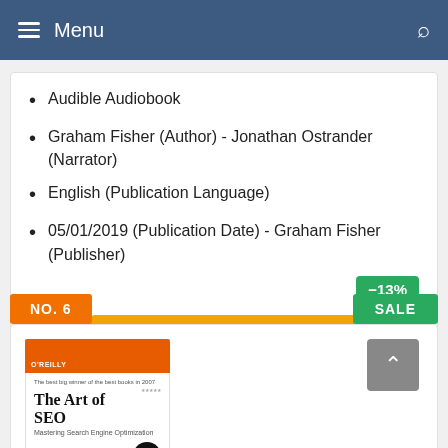Menu
Audible Audiobook
Graham Fisher (Author) - Jonathan Ostrander (Narrator)
English (Publication Language)
05/01/2019 (Publication Date) - Graham Fisher (Publisher)
-13%
Buy On Amazon
NO. 6
SALE
[Figure (illustration): Book cover of 'The Art of SEO: Mastering Search Engine Optimization' by Eric Enge, Stephan Spencer, and Jessie C. Stricchiola, published by O'Reilly]